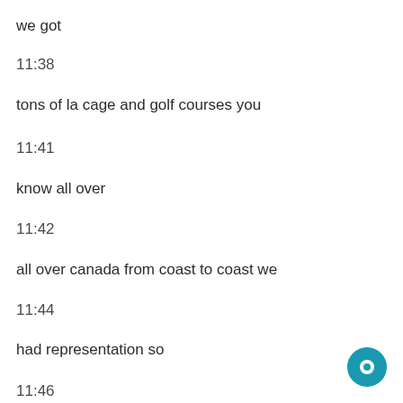we got
11:38
tons of la cage and golf courses you
11:41
know all over
11:42
all over canada from coast to coast we
11:44
had representation so
11:46